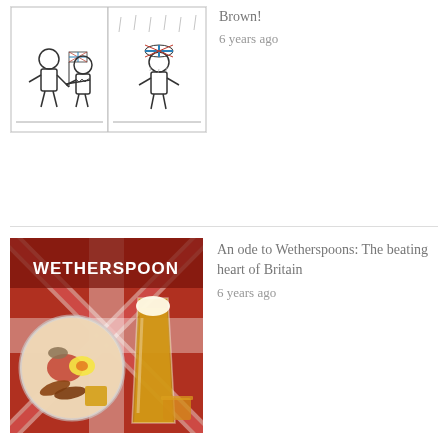[Figure (illustration): Two-panel Peanuts comic strip showing Lucy and Charlie Brown with British flag, black and white cartoon style]
Brown!
6 years ago
[Figure (photo): Wetherspoon pub sign with British Union Jack flag background, showing a full English breakfast plate and a pint of lager on a glass display]
An ode to Wetherspoons: The beating heart of Britain
6 years ago